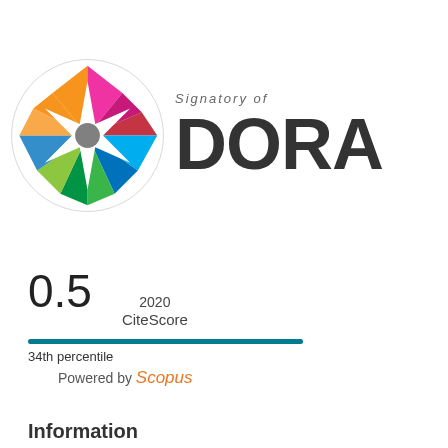[Figure (logo): DORA (San Francisco Declaration on Research Assessment) signatory logo — colorful star/flower emblem with text 'Signatory of DORA']
0.5
2020 CiteScore
34th percentile
Powered by Scopus
Information